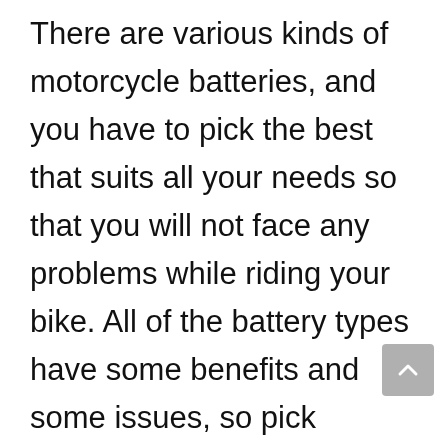There are various kinds of motorcycle batteries, and you have to pick the best that suits all your needs so that you will not face any problems while riding your bike. All of the battery types have some benefits and some issues, so pick carefully which one is best for you. These are the four types of motorcycle